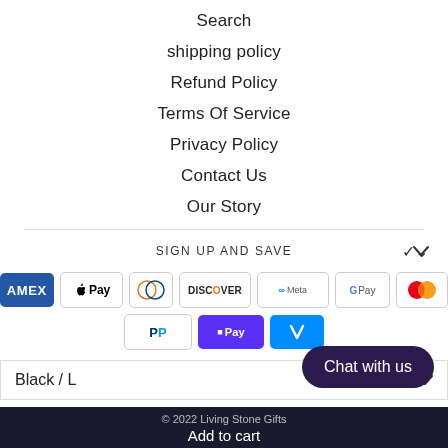Search
shipping policy
Refund Policy
Terms Of Service
Privacy Policy
Contact Us
Our Story
SIGN UP AND SAVE
[Figure (other): Payment method icons: American Express, Apple Pay, Diners Club, Discover, Meta Pay, Google Pay, Mastercard, PayPal, Shop Pay, Venmo]
Black / L
Chat with us
© 2022 Living Stone Gifts
Add to cart